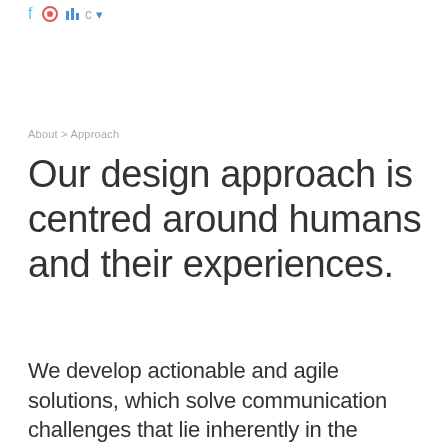[social/navigation icons]
About > Approach
Our design approach is centred around humans and their experiences.
We develop actionable and agile solutions, which solve communication challenges that lie inherently in the